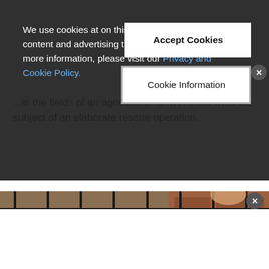...in the fields of an agricultural farm in India were the subject of an elaborate rescue operation.
[Figure (photo): A tabby kitten with mouth open, sitting behind metal cage bars. Blurred warm-toned background with brick and wood elements.]
We use cookies at on this site so we can serve up content and advertising that's relevant to you. For more information, please visit our Privacy and Cookie Policy.
Accept Cookies
Cookie Information